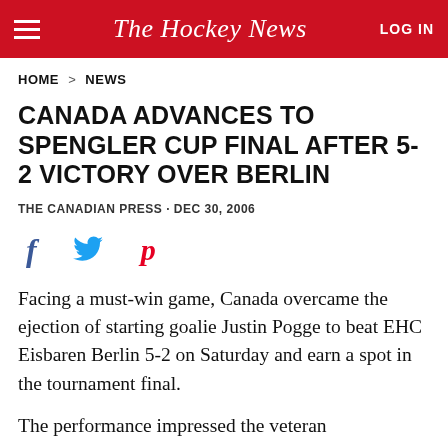The Hockey News
HOME > NEWS
CANADA ADVANCES TO SPENGLER CUP FINAL AFTER 5-2 VICTORY OVER BERLIN
THE CANADIAN PRESS • DEC 30, 2006
[Figure (infographic): Social sharing icons: Facebook (f), Twitter (bird), Pinterest (p)]
Facing a must-win game, Canada overcame the ejection of starting goalie Justin Pogge to beat EHC Eisbaren Berlin 5-2 on Saturday and earn a spot in the tournament final.
The performance impressed the veteran